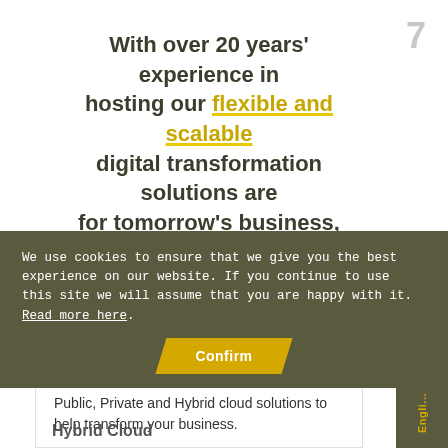7
With over 20 years' experience in hosting our flexible and scalable digital transformation solutions are for tomorrow's business, today
Cloud
Public, Private and Hybrid cloud solutions to help transform your business.
We use cookies to ensure that we give you the best experience on our website. If you continue to use this site we will assume that you are happy with it. Read more here.
Confirm
Hybrid Cloud